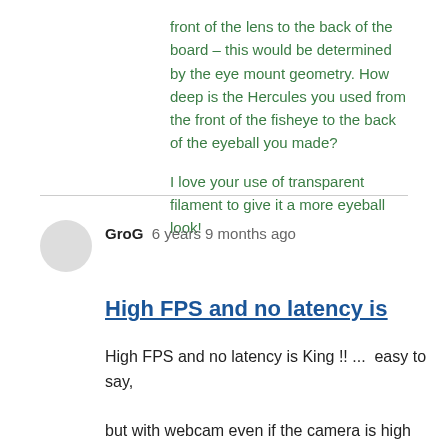front of the lens to the back of the board – this would be determined by the eye mount geometry.  How deep is the Hercules you used from the front of the fisheye to the back of the eyeball you made?
I love your use of transparent filament to give it a more eyeball look!
GroG   6 years 9 months ago
High FPS and no latency is
High FPS and no latency is King !! ...  easy to say,

but with webcam even if the camera is high FPS, depending on the USB version and computer it can get slow...